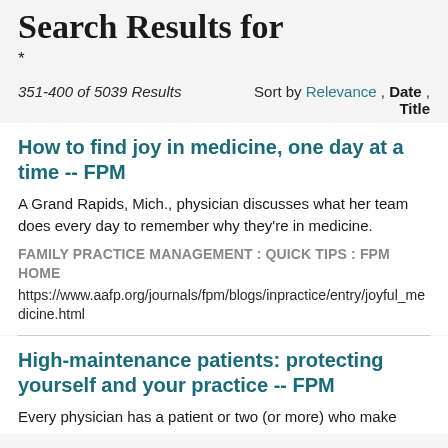Search Results for
*
351-400 of 5039 Results    Sort by Relevance , Date , Title
How to find joy in medicine, one day at a time -- FPM
A Grand Rapids, Mich., physician discusses what her team does every day to remember why they're in medicine.
FAMILY PRACTICE MANAGEMENT : QUICK TIPS : FPM HOME
https://www.aafp.org/journals/fpm/blogs/inpractice/entry/joyful_medicine.html
High-maintenance patients: protecting yourself and your practice -- FPM
Every physician has a patient or two (or more) who make